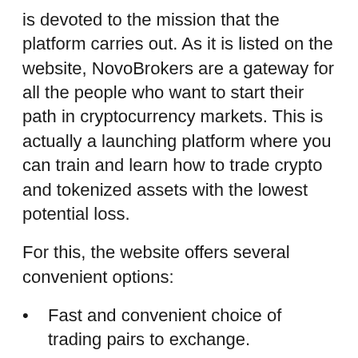is devoted to the mission that the platform carries out. As it is listed on the website, NovoBrokers are a gateway for all the people who want to start their path in cryptocurrency markets. This is actually a launching platform where you can train and learn how to trade crypto and tokenized assets with the lowest potential loss.
For this, the website offers several convenient options:
Fast and convenient choice of trading pairs to exchange.
Easy to perform exchanging process.
Informational support from skilled brokers who are the NovoBrokers team.
Technical customer support to prevent